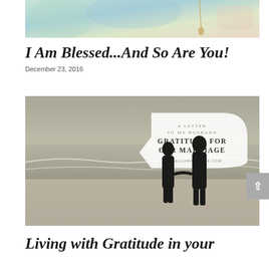[Figure (photo): Partial top image showing blurred colorful background with a chain/necklace pendant visible]
I Am Blessed...And So Are You!
December 23, 2016
[Figure (photo): Black and white beach photo of couple holding hands with text overlay: A LETTER TO MY HUSBAND / GRATITUDE FOR OUR MARRIAGE / VITABELLAMAGAZINE.COM]
Living with Gratitude in your